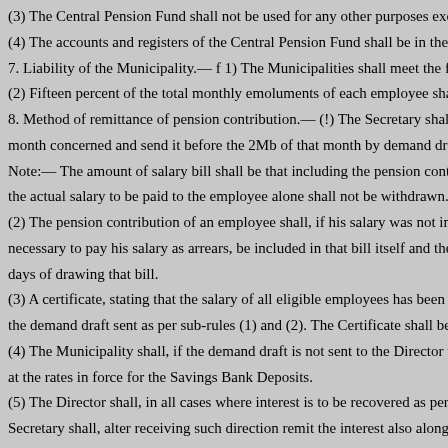(3) The Central Pension Fund shall not be used for any other purposes except wi...
(4) The accounts and registers of the Central Pension Fund shall be in the form sp...
7. Liability of the Municipality.— f 1) The Municipalities shall meet the financial...
(2) Fifteen percent of the total monthly emoluments of each employee shall be re...
8. Method of remittance of pension contribution.— (!) The Secretary shall withdr...
month concerned and send it before the 2Mb of that month by demand draft draw...
Note:— The amount of salary bill shall be that including the pension contribution...
the actual salary to be paid to the employee alone shall not be withdrawn.
(2) The pension contribution of an employee shall, if his salary was not include...
necessary to pay his salary as arrears, be included in that bill itself and the pensio...
days of drawing that bill.
(3) A certificate, stating that the salary of all eligible employees has been passed...
the demand draft sent as per sub-rules (1) and (2). The Certificate shall be in the f...
(4) The Municipality shall, if the demand draft is not sent to the Director within t...
at the rates in force for the Savings Bank Deposits.
(5) The Director shall, in all cases where interest is to be recovered as per sub-rule...
Secretary shall, alter receiving such direction remit the interest also along with the...
(6) if the pension contribution and interest is not remitted within the specified tim...
9. Procedure, for sanctioning pension.— (1) The Secretary shall prepare the pensi...